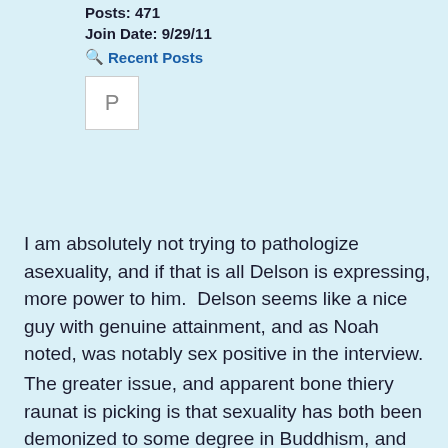Posts: 471
Join Date: 9/29/11
🔍 Recent Posts
[Figure (other): Avatar placeholder box with letter P]
I am absolutely not trying to pathologize asexuality, and if that is all Delson is expressing, more power to him.  Delson seems like a nice guy with genuine attainment, and as Noah noted, was notably sex positive in the interview.
The greater issue, and apparent bone thiery raunat is picking is that sexuality has both been demonized to some degree in Buddhism, and held to be something to be overcome through meditation (see "1020s Buddhist literature" above). The